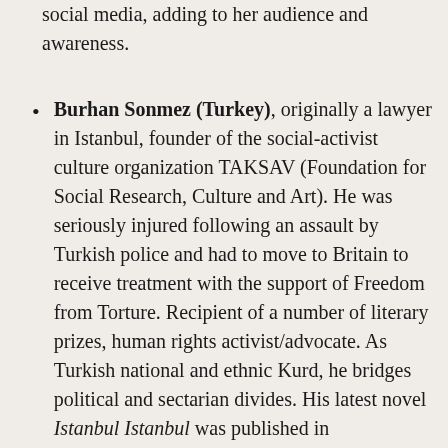social media, adding to her audience and awareness.
Burhan Sonmez (Turkey), originally a lawyer in Istanbul, founder of the social-activist culture organization TAKSAV (Foundation for Social Research, Culture and Art). He was seriously injured following an assault by Turkish police and had to move to Britain to receive treatment with the support of Freedom from Torture. Recipient of a number of literary prizes, human rights activist/advocate. As Turkish national and ethnic Kurd, he bridges political and sectarian divides. His latest novel Istanbul Istanbul was published in